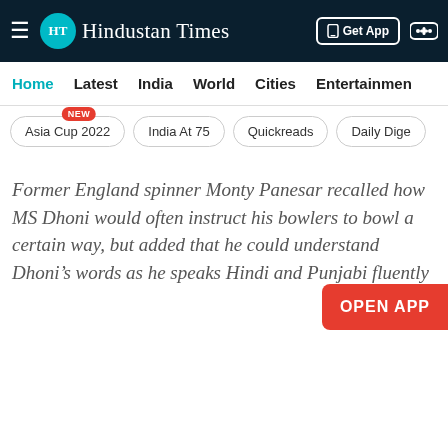Hindustan Times - Home | Latest | India | World | Cities | Entertainment
Asia Cup 2022 NEW
India At 75
Quickreads
Daily Dige
Former England spinner Monty Panesar recalled how MS Dhoni would often instruct his bowlers to bowl a certain way, but added that he could understand Dhoni’s words as he speaks Hindi and Punjabi fluently